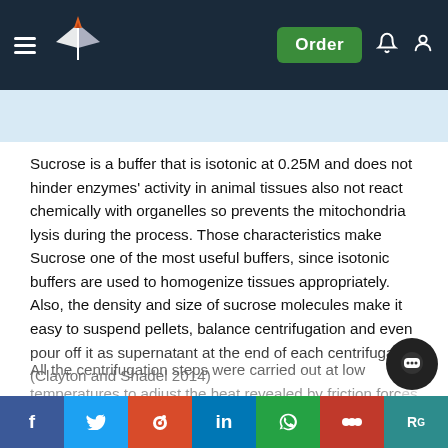Navigation bar with logo, Order button, notification and user icons
Sucrose is a buffer that is isotonic at 0.25M and does not hinder enzymes' activity in animal tissues also not react chemically with organelles so prevents the mitochondria lysis during the process. Those characteristics make Sucrose one of the most useful buffers, since isotonic buffers are used to homogenize tissues appropriately. Also, the density and size of sucrose molecules make it easy to suspend pellets, balance centrifugation and even pour off it as supernatant at the end of each centrifugation. (Clayton and Shadel 2014)
All the centrifugation steps were carried out at low temperatures to adjust the heat revealed by friction forces against the organelles were stored at -70°C to inhibit the cellular damage and